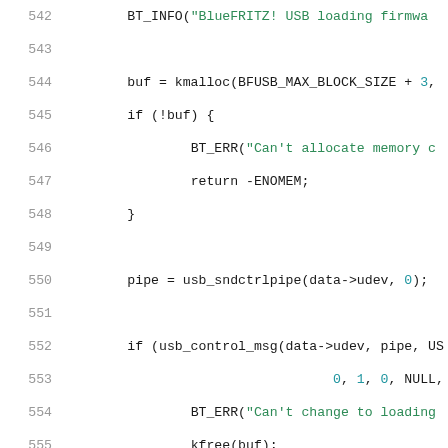[Figure (screenshot): Source code listing showing C kernel code lines 542-563 with line numbers in gray, string literals in green, and numeric literals in teal/blue.]